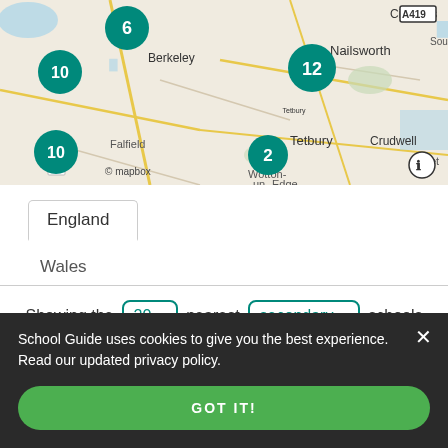[Figure (map): Interactive Mapbox map showing locations in Gloucestershire, England. Cluster markers with numbers 6, 10, 12, 2, 10 in teal circles. Place names: Berkeley, Nailsworth, Cirences(ter), Wotton-under-Edge, Tetbury, Crudwell, Falfield, Hillesley. Road labels: A419, A433. Mapbox attribution shown.]
England
Wales
Showing the 20 nearest secondary schools
School Guide uses cookies to give you the best experience. Read our updated privacy policy.
GOT IT!